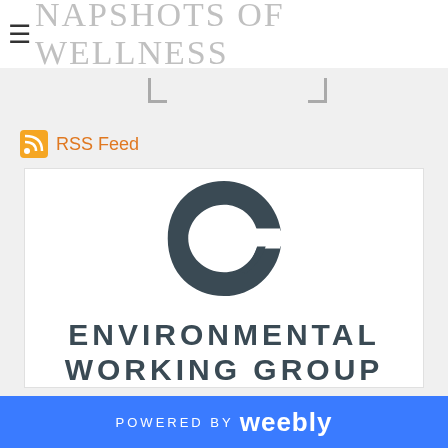SNAPSHOTS OF WELLNESS
RSS Feed
[Figure (logo): Environmental Working Group logo: stylized dark slate-blue crescent/epsilon symbol above the text ENVIRONMENTAL WORKING GROUP in bold uppercase letters]
POWERED BY weebly